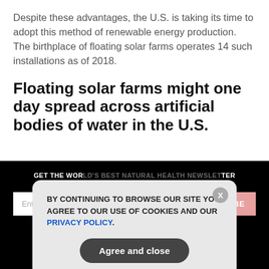Despite these advantages, the U.S. is taking its time to adopt this method of renewable energy production. The birthplace of floating solar farms operates 14 such installations as of 2018.
Floating solar farms might one day spread across artificial bodies of water in the U.S.
GET THE WORLD'S BEST NATURAL HEALTH NEWSLETTER DELIVERED STRAIGHT TO YOUR INBOX.
[Figure (screenshot): Cookie consent popup overlay with text: BY CONTINUING TO BROWSE OUR SITE YOU AGREE TO OUR USE OF COOKIES AND OUR PRIVACY POLICY. With an 'Agree and close' button and an X close button.]